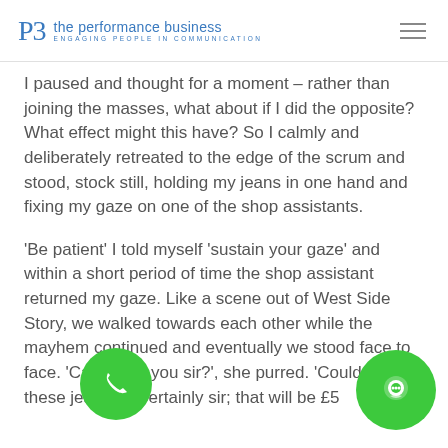PB the performance business ENGAGING PEOPLE IN COMMUNICATION
I paused and thought for a moment – rather than joining the masses, what about if I did the opposite? What effect might this have? So I calmly and deliberately retreated to the edge of the scrum and stood, stock still, holding my jeans in one hand and fixing my gaze on one of the shop assistants.
'Be patient' I told myself 'sustain your gaze' and within a short period of time the shop assistant returned my gaze. Like a scene out of West Side Story, we walked towards each other while the mayhem continued and eventually we stood face to face. 'Can I help you sir?', she purred. 'Could I buy these jeans?'. 'Certainly sir; that will be £5